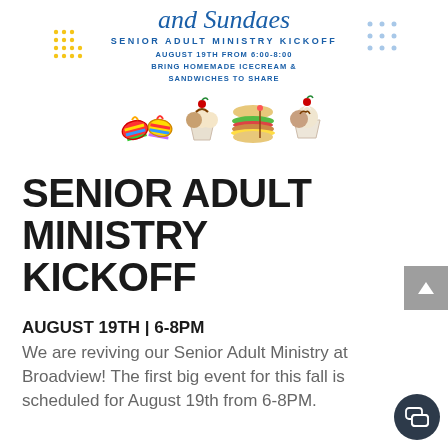[Figure (illustration): Decorative flyer header showing 'and Sundaes' in script, 'Senior Adult Ministry Kickoff' subtitle, event details 'August 19th from 6:00-8:00, Bring Homemade Icecream & Sandwiches to share', with clipart of flip flops, ice cream sundae, sandwich, and sundae with cherry, plus decorative dot grids on sides.]
SENIOR ADULT MINISTRY KICKOFF
AUGUST 19TH | 6-8PM
We are reviving our Senior Adult Ministry at Broadview! The first big event for this fall is scheduled for August 19th from 6-8PM.